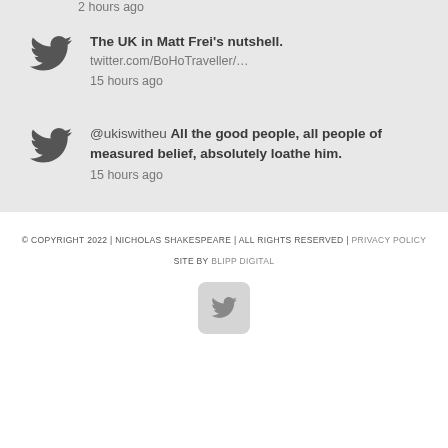2 hours ago
The UK in Matt Frei's nutshell. twitter.com/BoHoTraveller/… 15 hours ago
@ukiswitheu All the good people, all people of measured belief, absolutely loathe him. 15 hours ago
© COPYRIGHT 2022 | NICHOLAS SHAKESPEARE | ALL RIGHTS RESERVED | PRIVACY POLICY
SITE BY BLIPP DIGITAL